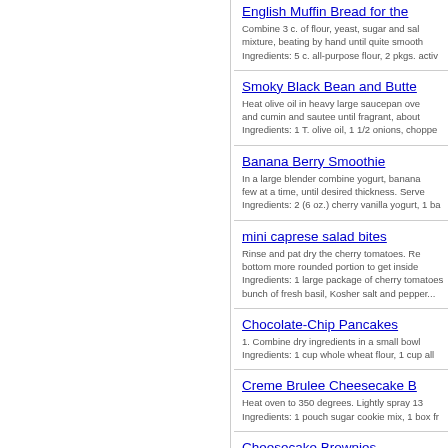English Muffin Bread for the
Combine 3 c. of flour, yeast, sugar and sal mixture, beating by hand until quite smooth Ingredients: 5 c. all-purpose flour, 2 pkgs. activ
Smoky Black Bean and Butte
Heat olive oil in heavy large saucepan ove and cumin and sautee until fragrant, about Ingredients: 1 T. olive oil, 1 1/2 onions, choppe
Banana Berry Smoothie
In a large blender combine yogurt, banana few at a time, until desired thickness. Serve Ingredients: 2 (6 oz.) cherry vanilla yogurt, 1 ba
mini caprese salad bites
Rinse and pat dry the cherry tomatoes. Re bottom more rounded portion to get inside Ingredients: 1 large package of cherry tomatoes bunch of fresh basil, Kosher salt and pepper...
Chocolate-Chip Pancakes
1. Combine dry ingredients in a small bow Ingredients: 1 cup whole wheat flour, 1 cup all
Creme Brulee Cheesecake B
Heat oven to 350 degrees. Lightly spray 13 Ingredients: 1 pouch sugar cookie mix, 1 box fr
Cheesecake Brownies